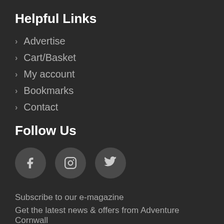Helpful Links
Advertise
Cart/Basket
My account
Bookmarks
Contact
Follow Us
[Figure (illustration): Three social media icon circles: Facebook (f), Instagram (camera), Twitter (bird)]
Subscribe to our e-magazine
Get the latest news & offers from Adventure Cornwall